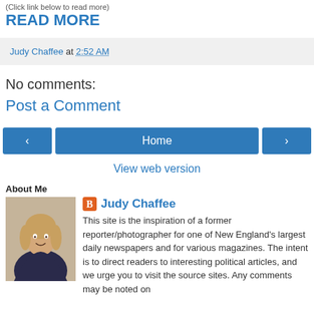(Click link below to read more)
READ MORE
Judy Chaffee at 2:52 AM
No comments:
Post a Comment
Home
View web version
About Me
Judy Chaffee
This site is the inspiration of a former reporter/photographer for one of New England's largest daily newspapers and for various magazines. The intent is to direct readers to interesting political articles, and we urge you to visit the source sites. Any comments may be noted on